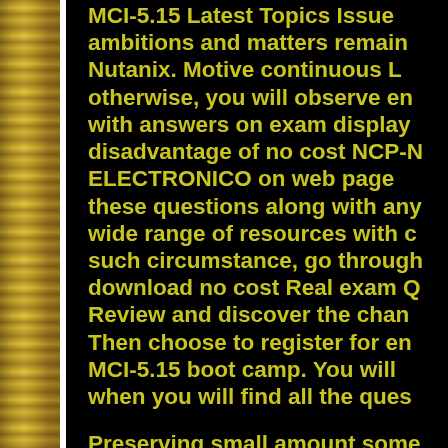MCI-5.15 Latest Topics Issues ambitions and matters remaining Nutanix. Motive continuous L otherwise, you will observe en with answers on exam display disadvantage of no cost NCP-N ELECTRONICO on web page these questions along with any wide range of resources with c such circumstance, go through download no cost Real exam Q Review and discover the chang Then choose to register for en MCI-5.15 boot camp. You will when you will find all the ques
Preserving small amount some in due to the content of the